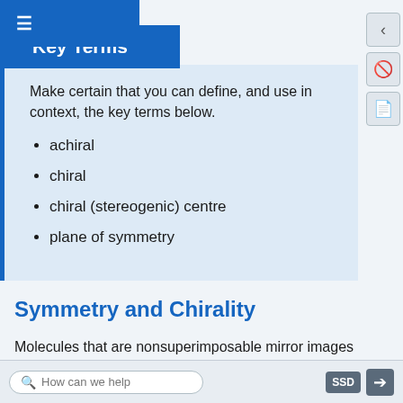Key Terms
Make certain that you can define, and use in context, the key terms below.
achiral
chiral
chiral (stereogenic) centre
plane of symmetry
Symmetry and Chirality
Molecules that are nonsuperimposable mirror images of each other are said to be chiral (pronounced "ky-